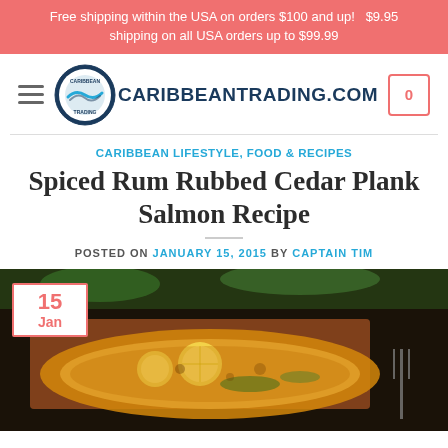Free shipping within the USA on orders $100 and up!   $9.95 shipping on all USA orders up to $99.99
[Figure (logo): CaribbeanTrading.com logo with circular emblem and text]
CARIBBEAN LIFESTYLE, FOOD & RECIPES
Spiced Rum Rubbed Cedar Plank Salmon Recipe
POSTED ON JANUARY 15, 2015 BY CAPTAIN TIM
[Figure (photo): Cedar plank salmon with lemon slices and herbs on dark background, with a date badge showing 15 Jan in the corner]